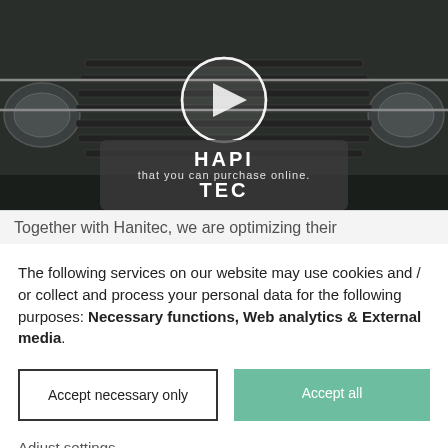[Figure (photo): Front grille of a classic Mercedes-Benz car with a play button overlay and a 'HAPITEC' branded banner showing 'that you can purchase online.']
Together with Hanitec, we are optimizing their
The following services on our website may use cookies and / or collect and process your personal data for the following purposes: Necessary functions, Web analytics & External media.
Accept necessary only
Accept all
Adjust settings